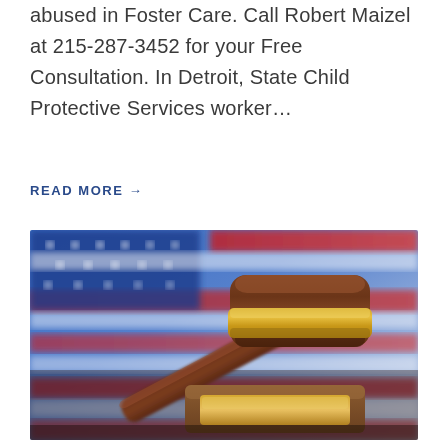abused in Foster Care. Call Robert Maizel at 215-287-3452 for your Free Consultation. In Detroit, State Child Protective Services worker…
READ MORE →
[Figure (photo): A judge's wooden gavel with a gold band resting on a sound block, with an American flag in the blurred background featuring red, white, and blue colors with stars.]